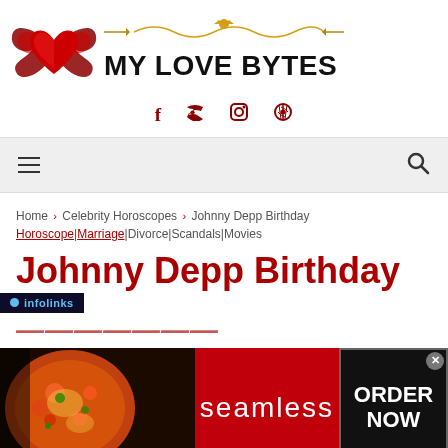[Figure (logo): My Love Bytes website logo with red winged heart icon and decorative gold ornament above bold black text reading MY LOVE BYTES]
[Figure (infographic): Social media icons: Facebook (f), Twitter (bird), Instagram (camera circle), Pinterest (p) — all in dark red color]
[Figure (infographic): Navigation bar with hamburger menu icon on left and search (magnifying glass) icon on right, on light gray background]
Home > Celebrity Horoscopes > Johnny Depp Birthday Horoscope|Marriage|Divorce|Scandals|Movies
Johnny Depp Birthday
[Figure (infographic): Seamless food delivery advertisement banner with pizza image on left, red 'seamless' text in center, and 'ORDER NOW' button on right. Infolinks label visible at top left.]